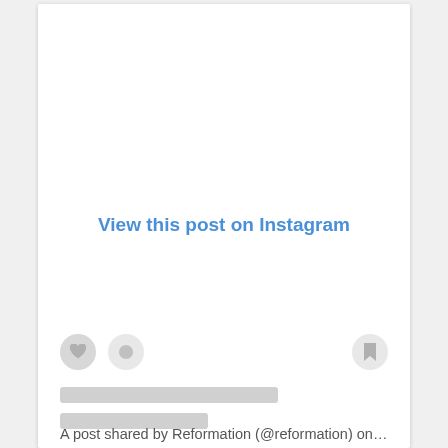View this post on Instagram
A post shared by Reformation (@reformation) on Nov 3, 2...